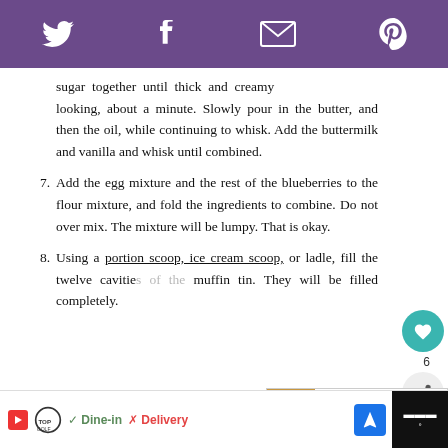[Social share bar: Twitter, Facebook, Email, Pinterest]
sugar together until thick and creamy looking, about a minute. Slowly pour in the butter, and then the oil, while continuing to whisk. Add the buttermilk and vanilla and whisk until combined.
7. Add the egg mixture and the rest of the blueberries to the flour mixture, and fold the ingredients to combine. Do not over mix. The mixture will be lumpy. That is okay.
8. Using a portion scoop, ice cream scoop, or ladle, fill the twelve cavities of the muffin tin. They will be filled completely.
Topgolf  ✓ Dine-in  ✗ Delivery